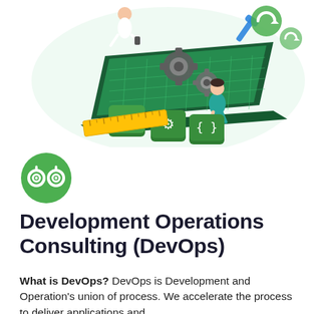[Figure (illustration): Isometric illustration of a DevOps/development scene: a laptop with a green glowing keyboard, gears, a developer character sitting on keyboard keys, another standing figure, code brackets key, settings gear key, curly braces key, a yellow ruler, and green circular arrow icons in the background.]
[Figure (logo): Green circular icon containing two robot/owl eyes (Arduino-style logo) in white on a green background.]
Development Operations Consulting (DevOps)
What is DevOps? DevOps is Development and Operation's union of process. We accelerate the process to deliver applications and